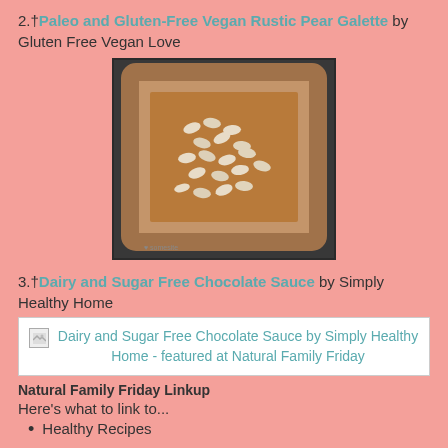2.† Paleo and Gluten-Free Vegan Rustic Pear Galette by Gluten Free Vegan Love
[Figure (photo): Photo of a rectangular rustic pear galette with sliced almonds on top, baked in a metal tray, viewed from above]
3.† Dairy and Sugar Free Chocolate Sauce by Simply Healthy Home
[Figure (photo): Broken image placeholder for: Dairy and Sugar Free Chocolate Sauce by Simply Healthy Home - featured at Natural Family Friday]
Natural Family Friday Linkup
Here's what to link to...
Healthy Recipes